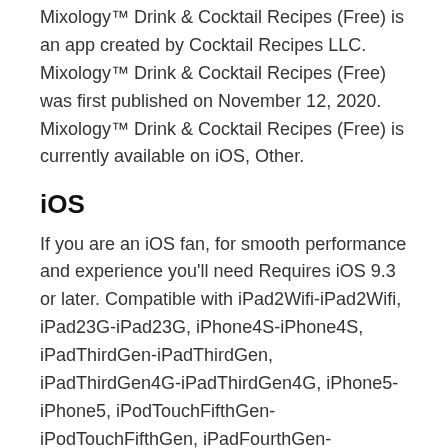Mixology™ Drink & Cocktail Recipes (Free) is an app created by Cocktail Recipes LLC. Mixology™ Drink & Cocktail Recipes (Free) was first published on November 12, 2020. Mixology™ Drink & Cocktail Recipes (Free) is currently available on iOS, Other.
iOS
If you are an iOS fan, for smooth performance and experience you'll need Requires iOS 9.3 or later. Compatible with iPad2Wifi-iPad2Wifi, iPad23G-iPad23G, iPhone4S-iPhone4S, iPadThirdGen-iPadThirdGen, iPadThirdGen4G-iPadThirdGen4G, iPhone5-iPhone5, iPodTouchFifthGen-iPodTouchFifthGen, iPadFourthGen-iPadFourthGen, iPadFourthGen4G-iPadFourthGen4G, iPadMini-iPadMini, iPadMini4G-iPadMini4G, iPhone5c-iPhone5c, iPhone5s-